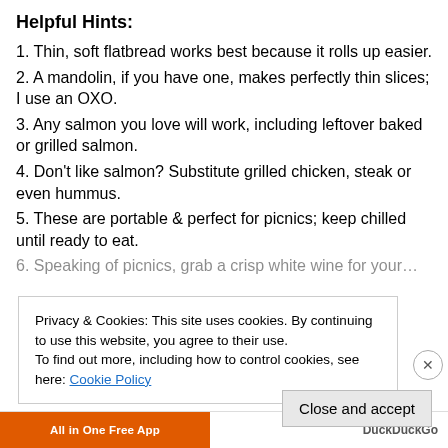Helpful Hints:
1. Thin, soft flatbread works best because it rolls up easier.
2. A mandolin, if you have one, makes perfectly thin slices; I use an OXO.
3. Any salmon you love will work, including leftover baked or grilled salmon.
4. Don’t like salmon? Substitute grilled chicken, steak or even hummus.
5. These are portable & perfect for picnics; keep chilled until ready to eat.
6. Speaking of picnics, grab a crisp white wine for your…
Privacy & Cookies: This site uses cookies. By continuing to use this website, you agree to their use.
To find out more, including how to control cookies, see here: Cookie Policy
Close and accept